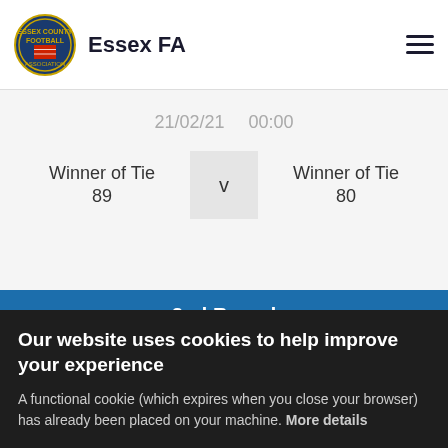Essex FA
21/02/21   00:00
Winner of Tie 89  v  Winner of Tie 80
2nd Round
Our website uses cookies to help improve your experience
A functional cookie (which expires when you close your browser) has already been placed on your machine. More details
ACCEPT COOKIES
ECFA Support